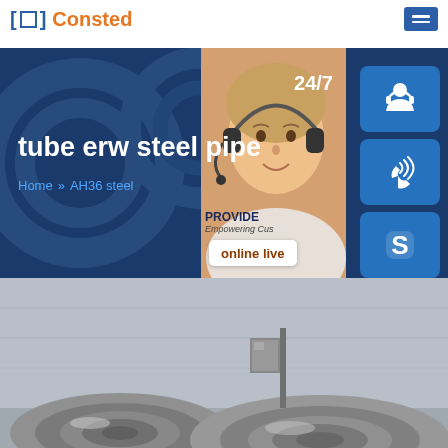Consted
[Figure (screenshot): Website hero banner with 'tube erw steel pipe' title and navigation breadcrumb showing Home >> AH36 steel, with customer service overlay including 24/7 label, headset icon, phone icon, Skype icon, and online live button]
[Figure (photo): Steel coils/pipes photographed in an industrial setting, grey metallic rolls visible from the side]